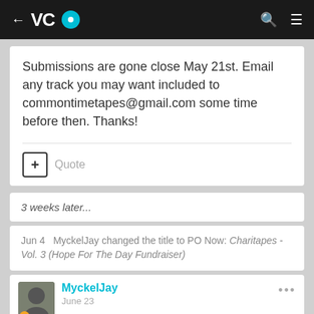VC [logo]
Submissions are gone close May 21st. Email any track you may want included to commontimetapes@gmail.com some time before then. Thanks!
Quote
3 weeks later...
Jun 4   MyckelJay changed the title to PO Now: Charitapes - Vol. 3 (Hope For The Day Fundraiser)
MyckelJay
June 23